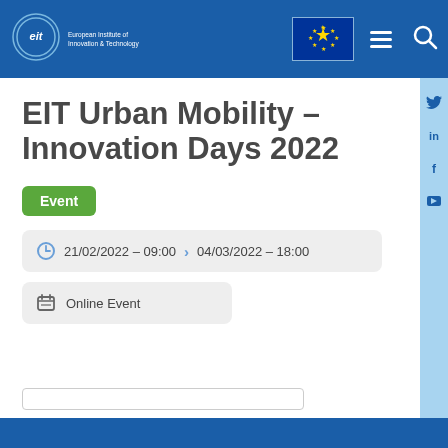EIT — European Institute of Innovation & Technology
EIT Urban Mobility – Innovation Days 2022
Event
21/02/2022 – 09:00 > 04/03/2022 – 18:00
Online Event